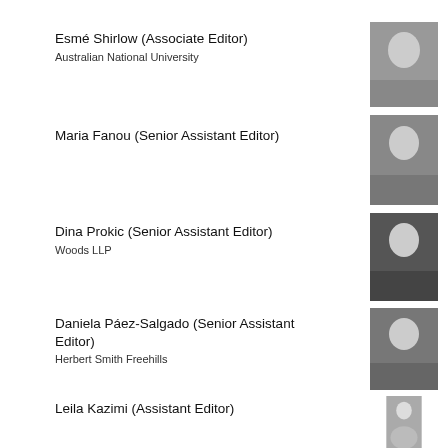Esmé Shirlow (Associate Editor)
Australian National University
[Figure (photo): Black and white headshot of Esmé Shirlow]
Maria Fanou (Senior Assistant Editor)
[Figure (photo): Black and white headshot of Maria Fanou]
Dina Prokic (Senior Assistant Editor)
Woods LLP
[Figure (photo): Black and white headshot of Dina Prokic]
Daniela Páez-Salgado (Senior Assistant Editor)
Herbert Smith Freehills
[Figure (photo): Black and white headshot of Daniela Páez-Salgado]
Leila Kazimi (Assistant Editor)
[Figure (photo): Black and white headshot of Leila Kazimi]
Titilope Sinmi-Adetona (Assistant Editor)
Lagos Chamber of Commerce International Arbitration Centre (LACIAC)
[Figure (photo): Black and white headshot of Titilope Sinmi-Adetona (partially visible)]